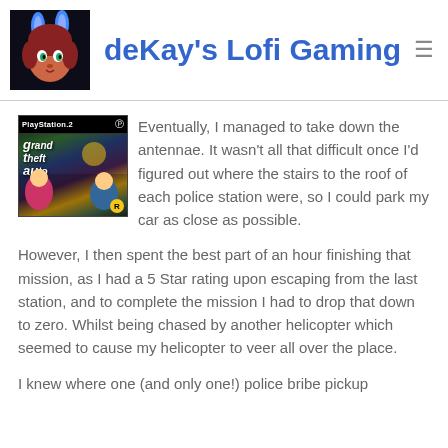deKay's Lofi Gaming
[Figure (illustration): GTA Vice City Stories PS2 game cover with PlayStation 2 logo bar at top]
Eventually, I managed to take down the antennae. It wasn't all that difficult once I'd figured out where the stairs to the roof of each police station were, so I could park my car as close as possible.
However, I then spent the best part of an hour finishing that mission, as I had a 5 Star rating upon escaping from the last station, and to complete the mission I had to drop that down to zero. Whilst being chased by another helicopter which seemed to cause my helicopter to veer all over the place.
I knew where one (and only one!) police bribe pickup